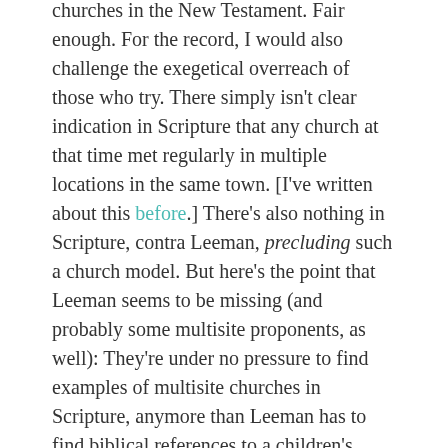churches in the New Testament. Fair enough. For the record, I would also challenge the exegetical overreach of those who try. There simply isn't clear indication in Scripture that any church at that time met regularly in multiple locations in the same town. [I've written about this before.] There's also nothing in Scripture, contra Leeman, precluding such a church model. But here's the point that Leeman seems to be missing (and probably some multisite proponents, as well): They're under no pressure to find examples of multisite churches in Scripture, anymore than Leeman has to find biblical references to a children's ministry check-in desk. As long as they're not arguing that this model is normative for the church, but simply a faithful way to be the church, they don't have to find a specific biblical example.
Leeman, on the other hand, is arguing not that these